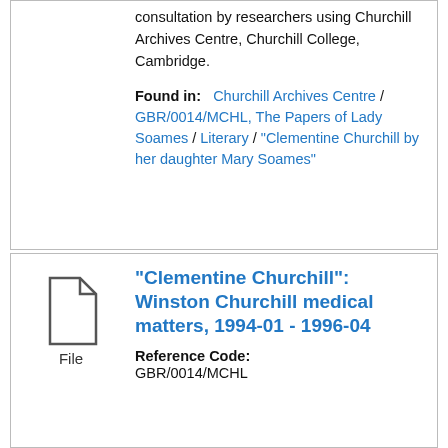consultation by researchers using Churchill Archives Centre, Churchill College, Cambridge.
Found in: Churchill Archives Centre / GBR/0014/MCHL, The Papers of Lady Soames / Literary / "Clementine Churchill by her daughter Mary Soames"
[Figure (illustration): File document icon (outline of a page with folded corner), with label 'File' below]
"Clementine Churchill": Winston Churchill medical matters, 1994-01 - 1996-04
Reference Code: GBR/0014/MCHL